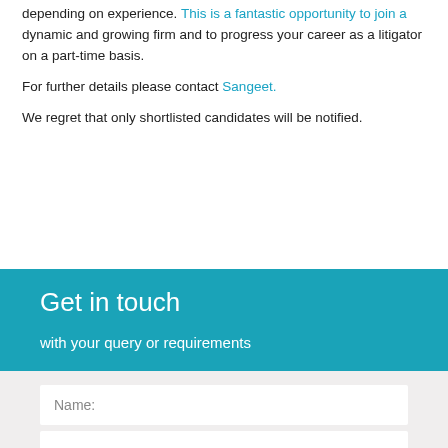depending on experience. This is a fantastic opportunity to join a dynamic and growing firm and to progress your career as a litigator on a part-time basis.
For further details please contact Sangeet.
We regret that only shortlisted candidates will be notified.
Get in touch
with your query or requirements
Name: